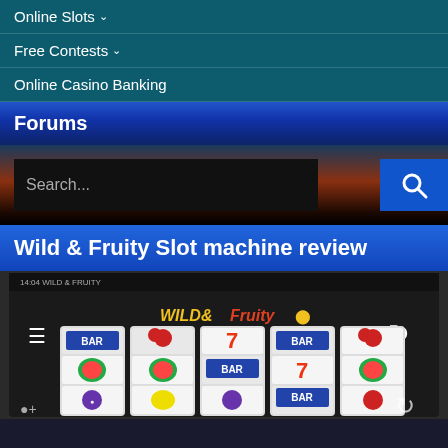Online Slots ⌄
Free Contests ⌄
Online Casino Banking
Forums
Search...
Wild & Fruity Slot machine review
[Figure (screenshot): Wild & Fruity slot machine game screenshot showing 5 reels with BAR, cherry, 7, watermelon, lemon, grape, and strawberry symbols on a dark background]